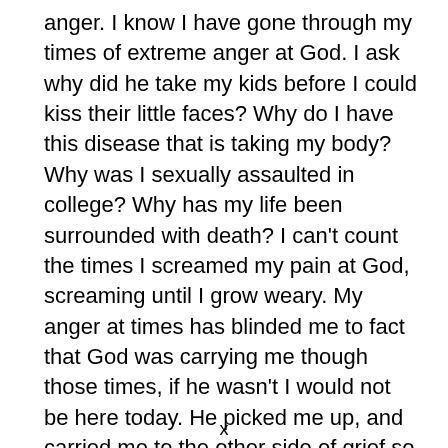anger. I know I have gone through my times of extreme anger at God. I ask why did he take my kids before I could kiss their little faces? Why do I have this disease that is taking my body? Why was I sexually assaulted in college? Why has my life been surrounded with death? I can't count the times I screamed my pain at God, screaming until I grow weary. My anger at times has blinded me to fact that God was carrying me though those times, if he wasn't I would not be here today. He picked me up, and carried me to the other side of grief so I could fully face him again. I have lost my joy at times in life, who hasn't? The joy returns when I return to the cross, to the foundation of who I am.
x